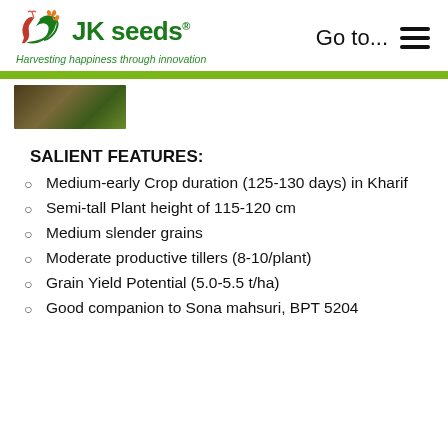JK seeds® — Harvesting happiness through innovation | Go to... ☰
[Figure (photo): Small thumbnail image of a crop/paddy field]
SALIENT FEATURES:
Medium-early Crop duration (125-130 days) in Kharif
Semi-tall Plant height of 115-120 cm
Medium slender grains
Moderate productive tillers (8-10/plant)
Grain Yield Potential (5.0-5.5 t/ha)
Good companion to Sona mahsuri, BPT 5204